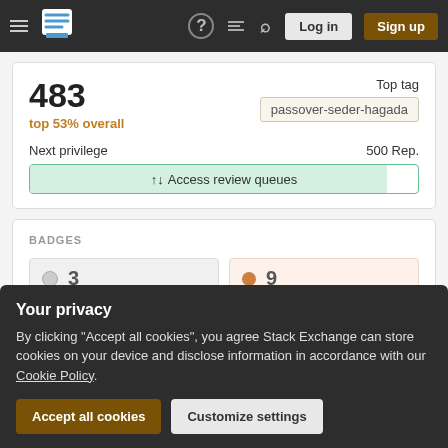[Figure (screenshot): Stack Exchange navigation bar with hamburger menu, logo, help icon, chat icon, search icon, Log in button, and Sign up button]
483
top 53% overall
Top tag
passover-seder-hagada
Next privilege
500 Rep.
↑↓ Access review queues
BADGES
3
9
Newest
Next badge
0/1
Your privacy
By clicking "Accept all cookies", you agree Stack Exchange can store cookies on your device and disclose information in accordance with our Cookie Policy.
Accept all cookies
Customize settings